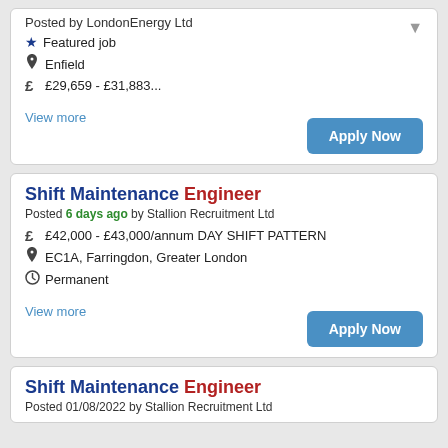Posted by LondonEnergy Ltd
Featured job
Enfield
£29,659 - £31,883...
View more
Shift Maintenance Engineer
Posted 6 days ago by Stallion Recruitment Ltd
£42,000 - £43,000/annum DAY SHIFT PATTERN
EC1A, Farringdon, Greater London
Permanent
View more
Shift Maintenance Engineer
Posted 01/08/2022 by Stallion Recruitment Ltd